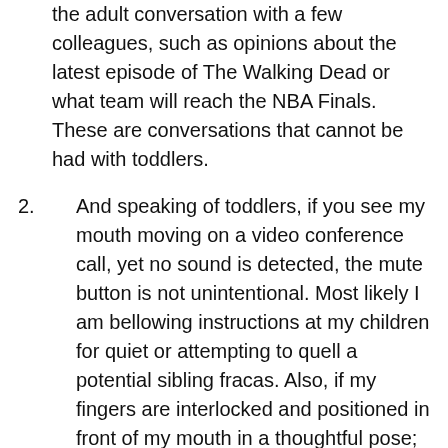the adult conversation with a few colleagues, such as opinions about the latest episode of The Walking Dead or what team will reach the NBA Finals. These are conversations that cannot be had with toddlers.
2. And speaking of toddlers, if you see my mouth moving on a video conference call, yet no sound is detected, the mute button is not unintentional. Most likely I am bellowing instructions at my children for quiet or attempting to quell a potential sibling fracas. Also, if my fingers are interlocked and positioned in front of my mouth in a thoughtful pose; you guessed correctly, I am bellowing instructions at my children for quiet or attempting to quell a potential sibling fracas. I just try to look intelligent doing it.
3. If at any time my computer screen goes unexpectedly “dark” during a video conference call; the bald eagle is